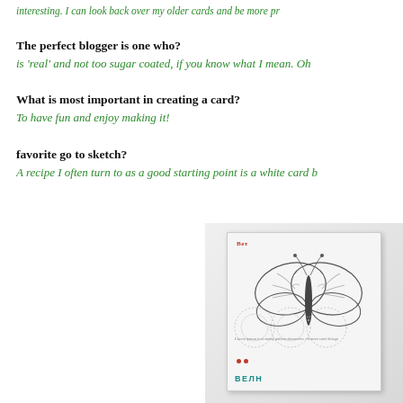interesting. I can look back over my older cards and be more pr...
The perfect blogger is one who?
is 'real' and not too sugar coated, if you know what I mean. Oh
What is most important in creating a card?
To have fun and enjoy making it!
favorite go to sketch?
A recipe I often turn to as a good starting point is a white card b
[Figure (photo): A handcrafted greeting card featuring a large butterfly illustration in gray/black, circular lace doily patterns, red dot accents, and Cyrillic text in teal at the bottom. The card has a white background with decorative stamped elements.]